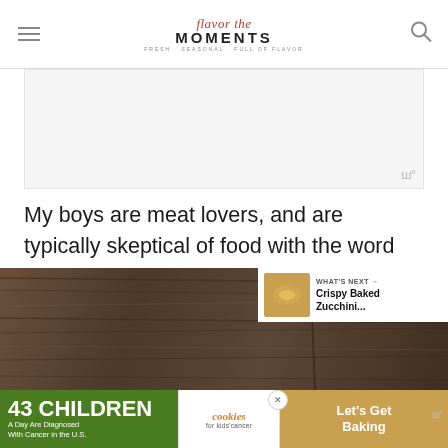flavor the MOMENTS
[Figure (other): Advertisement placeholder box with watermark]
My boys are meat lovers, and are typically skeptical of food with the word “veggie” in the title. They do happen to love black beans, however, and these veggie burgers won them over. 🍔
[Figure (photo): Dark wood grain background photo with WHAT'S NEXT - Crispy Baked Zucchini overlay in top right corner]
[Figure (other): Advertisement banner: 43 CHILDREN A Day Are Diagnosed With Cancer in the U.S. - cookies for kids cancer - Let's Get Baking]